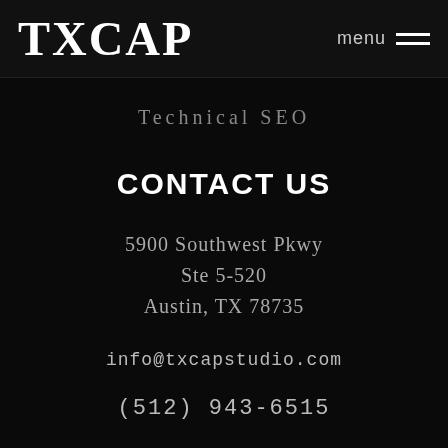TXCAP  menu
Technical SEO
CONTACT US
5900 Southwest Pkwy
Ste 5-520
Austin, TX 78735
info@txcapstudio.com
(512) 943-6515